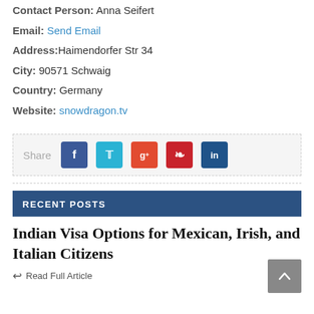Contact Person: Anna Seifert
Email: Send Email
Address: Haimendorfer Str 34
City: 90571 Schwaig
Country: Germany
Website: snowdragon.tv
[Figure (infographic): Social share bar with Facebook, Twitter, Google+, Pinterest, LinkedIn icons]
RECENT POSTS
Indian Visa Options for Mexican, Irish, and Italian Citizens
Read Full Article